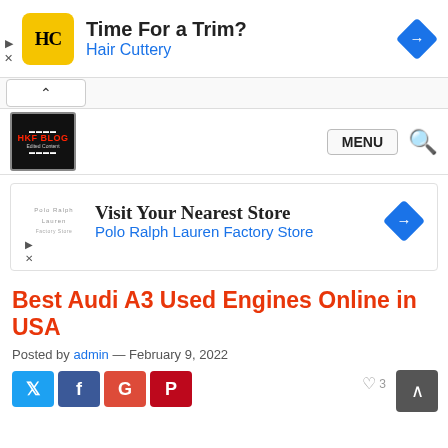[Figure (infographic): Hair Cuttery advertisement banner: HC logo on yellow background, 'Time For a Trim?' heading, 'Hair Cuttery' in blue, blue diamond arrow icon on right.]
[Figure (logo): Website navigation bar with HKF Blog film logo on left, MENU button and search icon on right.]
[Figure (infographic): Polo Ralph Lauren Factory Store advertisement: logo text, 'Visit Your Nearest Store' heading, 'Polo Ralph Lauren Factory Store' in blue, blue diamond arrow icon.]
Best Audi A3 Used Engines Online in USA
Posted by admin — February 9, 2022
[Figure (infographic): Social share buttons: Twitter (blue), Facebook (dark blue), Google+ (red), Pinterest (dark red).]